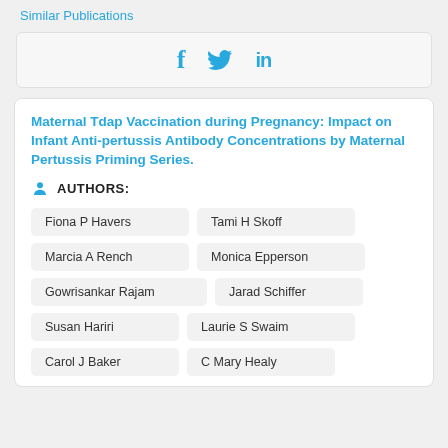Similar Publications
[Figure (other): Social sharing icons: Facebook (f), Twitter (bird), LinkedIn (in)]
Maternal Tdap Vaccination during Pregnancy: Impact on Infant Anti-pertussis Antibody Concentrations by Maternal Pertussis Priming Series.
AUTHORS:
Fiona P Havers
Tami H Skoff
Marcia A Rench
Monica Epperson
Gowrisankar Rajam
Jarad Schiffer
Susan Hariri
Laurie S Swaim
Carol J Baker
C Mary Healy